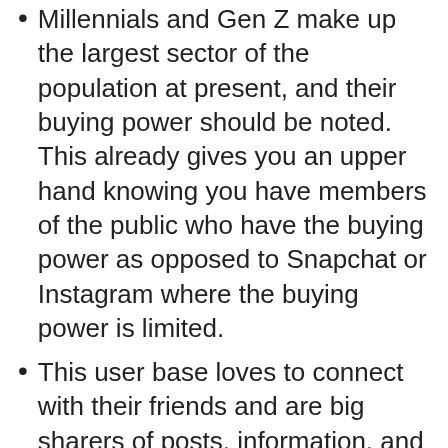Millennials and Gen Z make up the largest sector of the population at present, and their buying power should be noted. This already gives you an upper hand knowing you have members of the public who have the buying power as opposed to Snapchat or Instagram where the buying power is limited.
This user base loves to connect with their friends and are big sharers of posts, information, and even products. You can use this fact to create share-worthy content knowing that it will go viral.
Since your content has more potential to go viral, there is more scope to build successful marketing campaigns that get results on the platform.